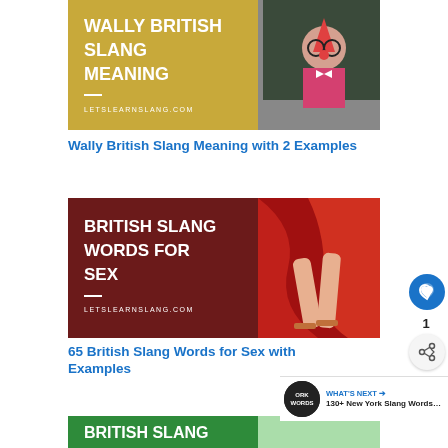[Figure (photo): Golden/yellow background with bold white text 'WALLY BRITISH SLANG MEANING' and letslearnslang.com, with a photo of a nerdy man in clown nose and party hat]
Wally British Slang Meaning with 2 Examples
[Figure (photo): Dark red/maroon background with bold white text 'BRITISH SLANG WORDS FOR SEX' and letslearnslang.com, with photo of woman's legs on red fabric]
65 British Slang Words for Sex with Examples
[Figure (photo): Green background with bold white text 'BRITISH SLANG' partially visible at bottom]